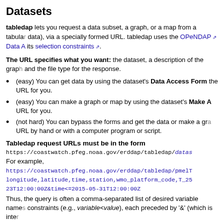Datasets
tabledap lets you request a data subset, a graph, or a map from a tabular dataset (for example, buoy data), via a specially formed URL. tabledap uses the OPeNDAP Data Access Protocol (DAP) and its selection constraints.
The URL specifies what you want: the dataset, a description of the graph or the subset of the data, and the file type for the response.
(easy) You can get data by using the dataset's Data Access Form, which makes the URL for you.
(easy) You can make a graph or map by using the dataset's Make A Graph form, which makes the URL for you.
(not hard) You can bypass the forms and get the data or make a graph or map by creating the URL by hand or with a computer program or script.
Tabledap request URLs must be in the form
https://coastwatch.pfeg.noaa.gov/erddap/tabledap/datasetID.fileType{?query}
For example,
https://coastwatch.pfeg.noaa.gov/erddap/tabledap/pmelTaoDySst.htmlTable?longitude,latitude,time,station,wmo_platform_code,T_25&time>=2015-05-23T12:00:00Z&time<=2015-05-31T12:00:00Z
Thus, the query is often a comma-separated list of desired variable names, followed by collection of constraints (e.g., variable<value), each preceded by '&' (which is inte…
For details, see the tabledap Documentation.